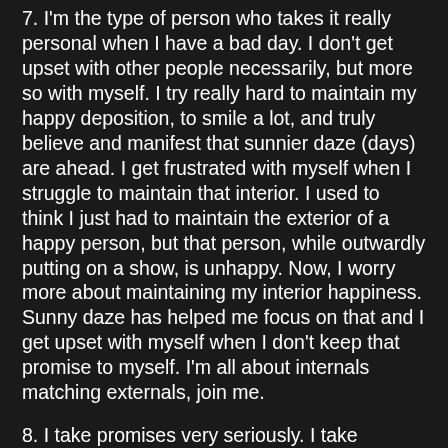7. I'm the type of person who takes it really personal when I have a bad day. I don't get upset with other people necessarily, but more so with myself. I try really hard to maintain my happy deposition, to smile a lot, and truly believe and manifest that sunnier daze (days) are ahead. I get frustrated with myself when I struggle to maintain that interior. I used to think I just had to maintain the exterior of a happy person, but that person, while outwardly putting on a show, is unhappy. Now, I worry more about maintaining my interior happiness. Sunny daze has helped me focus on that and I get upset with myself when I don't keep that promise to myself. I'm all about internals matching externals, join me.
8. I take promises very seriously. I take...